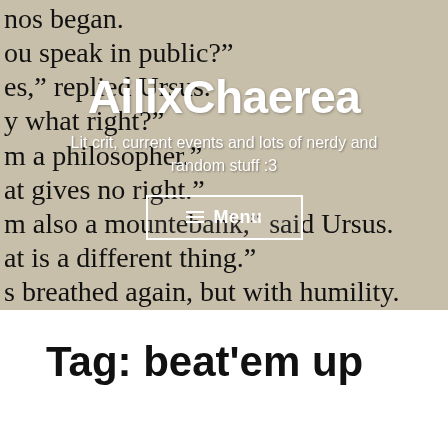[Figure (photo): A photograph of a book page with printed text, used as a background for a blog header. Visible text lines include fragments: 'nos began.', 'ou speak in public?"', 'es," replied Ursus.', 'y what right?"', 'm a philosopher."', 'at gives no right."', 'm also a mountebank," said Ursus.', 'at is a different thing."', 's breathed again, but with humility.', 'os resumed,—', 'a mountebank, you may speak; as a p', 'lence."']
AilixChaerea
Lit crit, current events and lots of nerdy and random stuff :3
≡ Menu
Tag: beat'em up